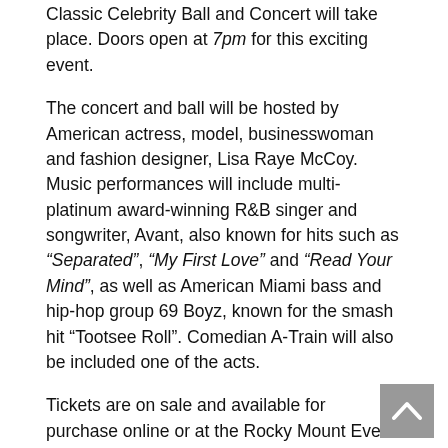Classic Celebrity Ball and Concert will take place. Doors open at 7pm for this exciting event.
The concert and ball will be hosted by American actress, model, businesswoman and fashion designer, Lisa Raye McCoy. Music performances will include multi-platinum award-winning R&B singer and songwriter, Avant, also known for hits such as "Separated", "My First Love" and "Read Your Mind", as well as American Miami bass and hip-hop group 69 Boyz, known for the smash hit "Tootsee Roll". Comedian A-Train will also be included one of the acts.
Tickets are on sale and available for purchase online or at the Rocky Mount Event Center box office and/or Guest Services. For more information and to purchase tickets, visit www.rockymountevents.com/upcoming-events or call (252) 231-3490. Tickets cost start at $20 per guest (plus processing fees).
Rocky Mount Event Center opened October 2018 and is managed by the industry-leading sport facility management